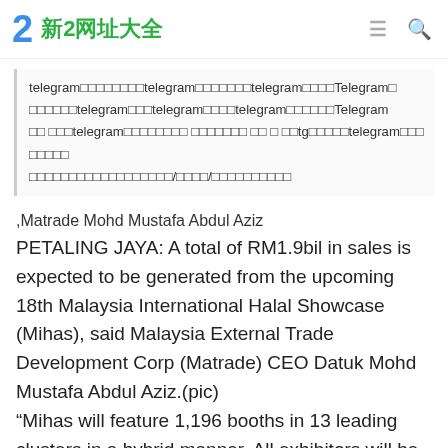2 新2网址大全
telegram□□□□□□□□telegram□□□□□□□telegram□□□□Telegram□□□□□□telegram□□□telegram□□□□telegram□□□□□□Telegram□□ □□□telegram□□□□□□□□ □□□□□□□ □□ □ □□tg□□□□□telegram□□□□□□□□□□□□□□□□□□□□□□□□□/□□□□/□□□□□□□□□□
,Matrade Mohd Mustafa Abdul Aziz
PETALING JAYA: A total of RM1.9bil in sales is expected to be generated from the upcoming 18th Malaysia International Halal Showcase (Mihas), said Malaysia External Trade Development Corp (Matrade) CEO Datuk Mohd Mustafa Abdul Aziz.(pic)
“Mihas will feature 1,196 booths in 13 leading clusters in a hybrid manner. All exhibitors will be offered virtual platforms to showcase their products on Mihas’s digital platform for